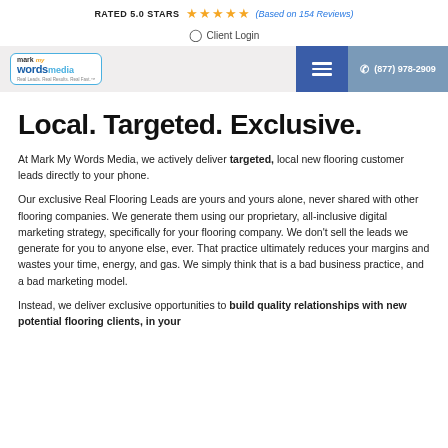RATED 5.0 STARS ★★★★★ (Based on 154 Reviews)
Client Login
[Figure (logo): Mark My Words Media logo with blue border, cloud and text mark, my, wordsmedia in blue and teal, tagline: Real Leads. Real Results. Real Fast.]
Local. Targeted. Exclusive.
At Mark My Words Media, we actively deliver targeted, local new flooring customer leads directly to your phone.
Our exclusive Real Flooring Leads are yours and yours alone, never shared with other flooring companies. We generate them using our proprietary, all-inclusive digital marketing strategy, specifically for your flooring company. We don't sell the leads we generate for you to anyone else, ever. That practice ultimately reduces your margins and wastes your time, energy, and gas. We simply think that is a bad business practice, and a bad marketing model.
Instead, we deliver exclusive opportunities to build quality relationships with new potential flooring clients, in your